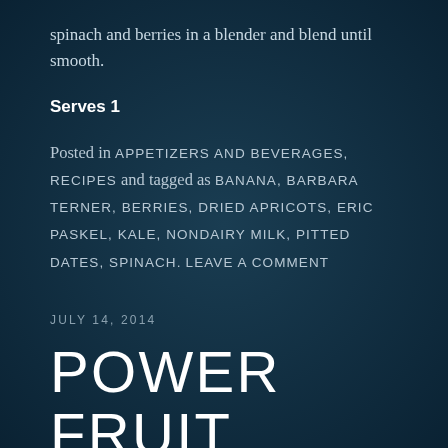spinach and berries in a blender and blend until smooth.
Serves 1
Posted in APPETIZERS AND BEVERAGES, RECIPES and tagged as BANANA, BARBARA TERNER, BERRIES, DRIED APRICOTS, ERIC PASKEL, KALE, NONDAIRY MILK, PITTED DATES, SPINACH. LEAVE A COMMENT
JULY 14, 2014
POWER FRUIT SMOOTHIE